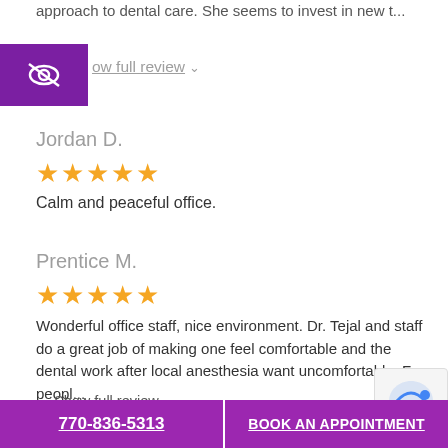approach to dental care. She seems to invest in new t...
[Figure (other): Purple square button with eye-slash icon indicating hidden/show toggle]
ow full review ⌄
Jordan D.
[Figure (other): 5 gold stars rating]
Calm and peaceful office.
Prentice M.
[Figure (other): 5 gold stars rating]
Wonderful office staff, nice environment. Dr. Tejal and staff do a great job of making one feel comfortable and the dental work after local anesthesia want uncomfortable. Few peopl...
Show full review ⌄
770-836-5313
BOOK AN APPOINTMENT